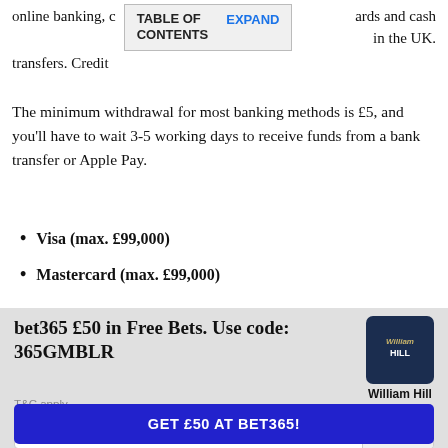online banking, c… ards and cash transfers. Credit … in the UK.
TABLE OF CONTENTS  EXPAND
The minimum withdrawal for most banking methods is £5, and you'll have to wait 3-5 working days to receive funds from a bank transfer or Apple Pay.
Visa (max. £99,000)
Mastercard (max. £99,000)
bet365 £50 in Free Bets. Use code: 365GMBLR
[Figure (logo): William Hill logo — dark navy square with 'William Hill' text in gold/white]
William Hill
T&C apply
365GMBLR    COPY
GET £50 AT BET365!